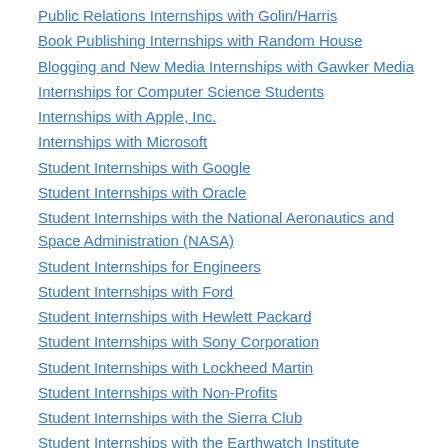Public Relations Internships with Golin/Harris
Book Publishing Internships with Random House
Blogging and New Media Internships with Gawker Media
Internships for Computer Science Students
Internships with Apple, Inc.
Internships with Microsoft
Student Internships with Google
Student Internships with Oracle
Student Internships with the National Aeronautics and Space Administration (NASA)
Student Internships for Engineers
Student Internships with Ford
Student Internships with Hewlett Packard
Student Internships with Sony Corporation
Student Internships with Lockheed Martin
Student Internships with Non-Profits
Student Internships with the Sierra Club
Student Internships with the Earthwatch Institute